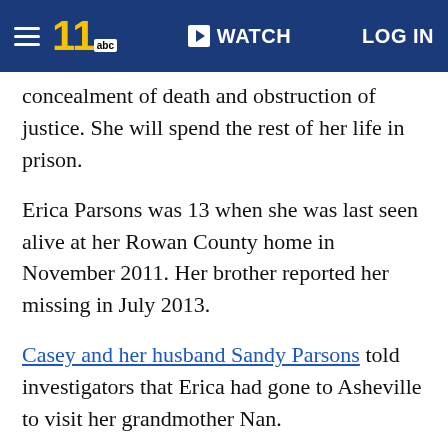≡  11abc  ▶ WATCH  LOG IN
concealment of death and obstruction of justice. She will spend the rest of her life in prison.
Erica Parsons was 13 when she was last seen alive at her Rowan County home in November 2011. Her brother reported her missing in July 2013.
Casey and her husband Sandy Parsons told investigators that Erica had gone to Asheville to visit her grandmother Nan.
Authorities later determined that Nan did not exist.
Erica's body was not found until 2016 when Sandy led investigators to a wooded area in Chesterfield